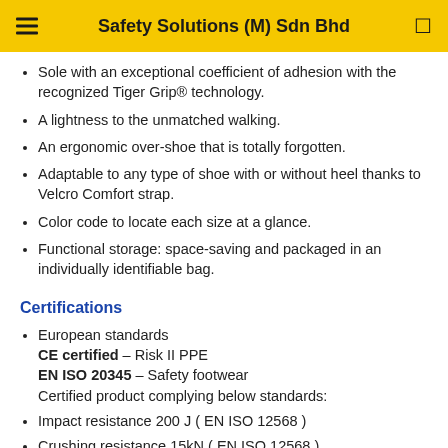Safety Solutions (M) Sdn Bhd
Sole with an exceptional coefficient of adhesion with the recognized Tiger Grip® technology.
A lightness to the unmatched walking.
An ergonomic over-shoe that is totally forgotten.
Adaptable to any type of shoe with or without heel thanks to Velcro Comfort strap.
Color code to locate each size at a glance.
Functional storage: space-saving and packaged in an individually identifiable bag.
Certifications
European standards
CE certified – Risk II PPE
EN ISO 20345 – Safety footwear
Certified product complying below standards:
Impact resistance 200 J ( EN ISO 12568 )
Crushing resistance 15kN ( EN ISO 12568 )